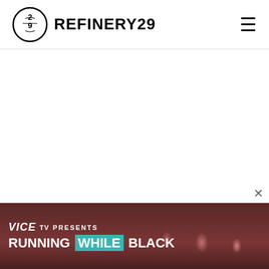REFINERY29
[Figure (screenshot): Refinery29 website header with logo (circle with 29 inside) and REFINERY29 text on the left, hamburger menu icon on the right. Below is a mostly blank white page content area. At the bottom is an advertisement banner for VICE TV Presents: Running While Black, showing the VICE logo, program title text, and a background photo of people.]